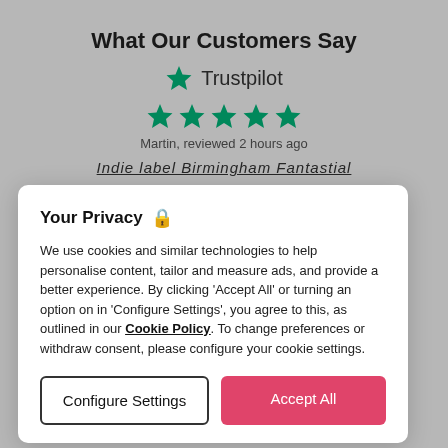What Our Customers Say
[Figure (logo): Trustpilot logo with green star and text 'Trustpilot']
[Figure (other): Five green star rating icons]
Martin, reviewed 2 hours ago
Indie label Birmingham Fantastial (partially visible, obscured by modal)
Your Privacy 🔒
We use cookies and similar technologies to help personalise content, tailor and measure ads, and provide a better experience. By clicking 'Accept All' or turning an option on in 'Configure Settings', you agree to this, as outlined in our Cookie Policy. To change preferences or withdraw consent, please configure your cookie settings.
Configure Settings
Accept All